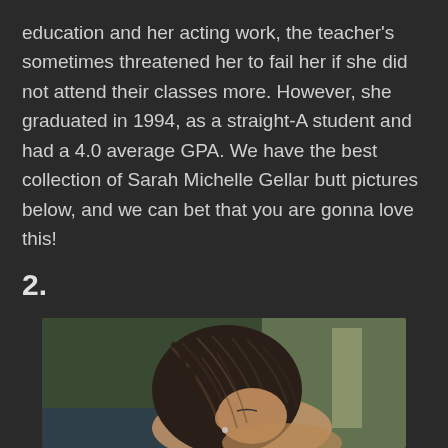education and her acting work, the teacher's sometimes threatened her to fail her if she did not attend their classes more. However, she graduated in 1994, as a straight-A student and had a 4.0 average GPA. We have the best collection of Sarah Michelle Gellar butt pictures below, and we can bet that you are gonna love this!
2.
[Figure (photo): Close-up photo of a woman with wet dark hair braided and loose strands, head tilted downward, wearing a small earring, outdoor setting with blurred green and light background.]